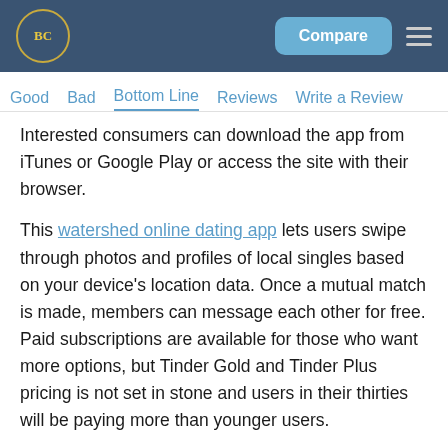BC | Compare
Good   Bad   Bottom Line   Reviews   Write a Review
Interested consumers can download the app from iTunes or Google Play or access the site with their browser.
This watershed online dating app lets users swipe through photos and profiles of local singles based on your device's location data. Once a mutual match is made, members can message each other for free. Paid subscriptions are available for those who want more options, but Tinder Gold and Tinder Plus pricing is not set in stone and users in their thirties will be paying more than younger users.
Although Tinder has a reputation for facilitating hookup dates over long-term relationships, results vary based on what you are looking for and the intentions of other users.